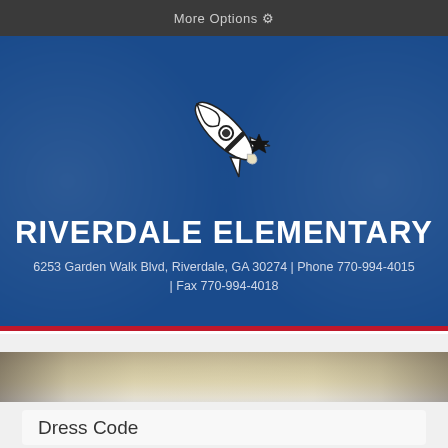More Options ⚙
[Figure (logo): Riverdale Elementary rocket mascot logo — a white and black rocket ship flying diagonally upward-right with a small star nearby, on a blue background]
RIVERDALE ELEMENTARY
6253 Garden Walk Blvd, Riverdale, GA 30274 | Phone 770-994-4015 | Fax 770-994-4018
[Figure (photo): A faded photo strip showing what appears to be a school building exterior or classroom supplies]
Dress Code